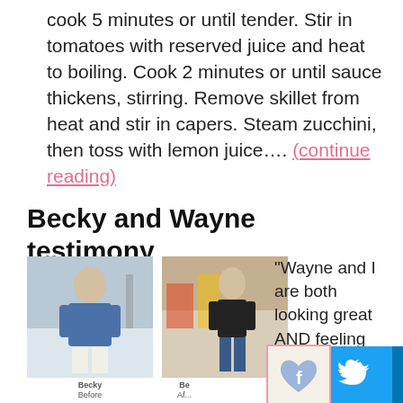cook 5 minutes or until tender. Stir in tomatoes with reserved juice and heat to boiling. Cook 2 minutes or until sauce thickens, stirring. Remove skillet from heat and stir in capers. Steam zucchini, then toss with lemon juice…. (continue reading)
Becky and Wayne testimony
[Figure (photo): Two before-and-after photos of a woman named Becky, showing weight loss transformation. Left photo labeled 'Becky Before', right photo labeled 'Be After'.]
“Wayne and I are both looking great AND feeling great. Some of the clothes I couldn’t even get into when I ...re now too ...ose. To be honest, I
[Figure (other): Social media share icons: Facebook (heart design), Twitter, LinkedIn, Google+]